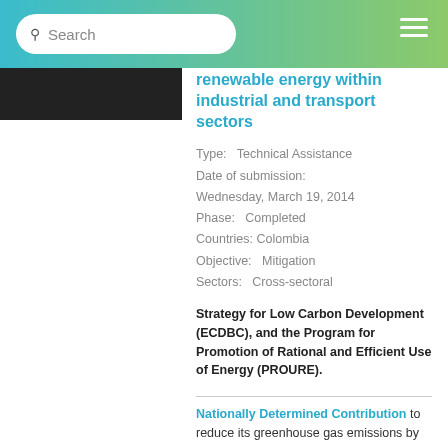Search
[Figure (photo): Dark-toned photograph, partially visible on the left side of the content area]
renewable energy within industrial and transport sectors
Type: Technical Assistance
Date of submission: Wednesday, March 19, 2014
Phase: Completed
Countries: Colombia
Objective: Mitigation
Sectors: Cross-sectoral
Strategy for Low Carbon Development (ECDBC), and the Program for Promotion of Rational and Efficient Use of Energy (PROURE).
Nationally Determined Contribution to reduce its greenhouse gas emissions by